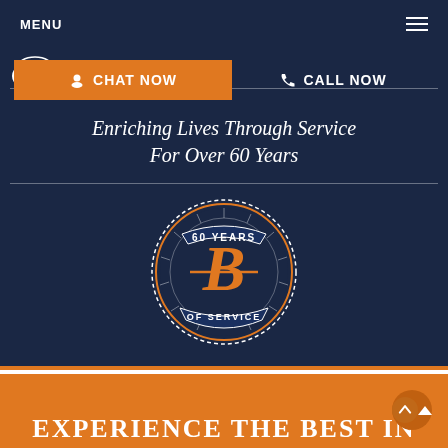MENU
[Figure (logo): White circular logo in top left corner]
CHAT NOW
CALL NOW
Enriching Lives Through Service For Over 60 Years
[Figure (logo): 60 Years of Service badge with orange B letter emblem on navy blue background, circular badge with decorative rays and ribbon reading 'OF SERVICE']
[Figure (illustration): Orange section with scroll-to-top arrow button]
EXPERIENCE THE BEST IN